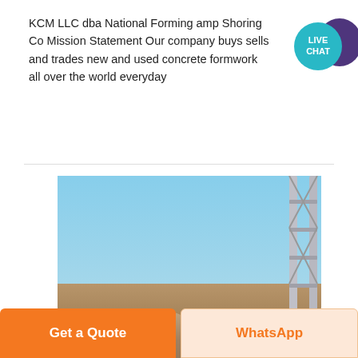KCM LLC dba National Forming amp Shoring Co Mission Statement Our company buys sells and trades new and used concrete formwork all over the world everyday
[Figure (photo): Construction site photo showing a rocky hillside with a clear blue sky and metal scaffolding/shoring structure on the right side]
Get a Quote
WhatsApp